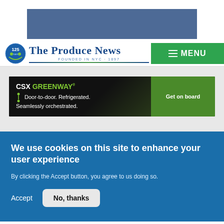[Figure (other): Blue/steel-colored advertisement banner at top of page]
[Figure (logo): The Produce News logo with 125th anniversary badge, blue text, and green/blue underline]
≡ MENU
[Figure (other): CSX GREENWAY advertisement banner: Door-to-door. Refrigerated. Seamlessly orchestrated. Get on board button]
We use cookies on this site to enhance your user experience
By clicking the Accept button, you agree to us doing so.
Accept
No, thanks